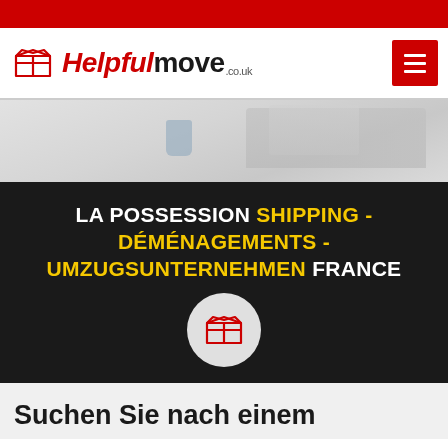[Figure (logo): Helpfulmove.co.uk logo with red open box icon and red/black text]
[Figure (photo): Person working on a laptop at a desk with a cup nearby, light background]
LA POSSESSION SHIPPING - DÉMÉNAGEMENTS - UMZUGSUNTERNEHMEN FRANCE
[Figure (logo): Red open box logo icon on a grey circle]
Suchen Sie nach einem